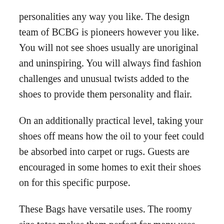personalities any way you like. The design team of BCBG is pioneers however you like. You will not see shoes usually are unoriginal and uninspiring. You will always find fashion challenges and unusual twists added to the shoes to provide them personality and flair.
On an additionally practical level, taking your shoes off means how the oil to your feet could be absorbed into carpet or rugs. Guests are encouraged in some homes to exit their shoes on for this specific purpose.
These Bags have versatile uses. The roomy size totes makes them perfect for many uses. These types of ideal as beach Bags. Just throw in your beach towel, lotions, because items, and you are obviously all allocated.